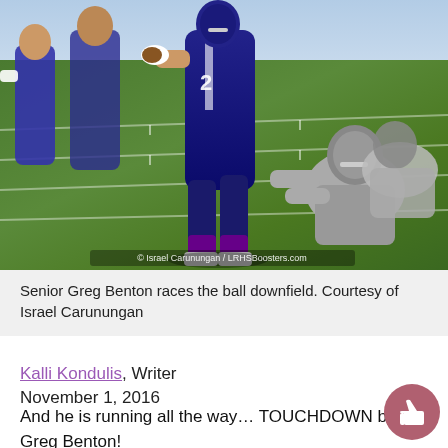[Figure (photo): Action photo of senior Greg Benton wearing navy blue uniform carrying football downfield, with opposing players in grey attempting tackles. Field has green turf with yard lines visible. Photo credit: Israel Carunungan / LRHSBoosters.com]
Senior Greg Benton races the ball downfield. Courtesy of Israel Carunungan
Kalli Kondulis, Writer
November 1, 2016
And he is running all the way… TOUCHDOWN by Greg Benton!
Greg Benton is a senior at Long Reach High School. Many of you know him as D1-bound. Over the past